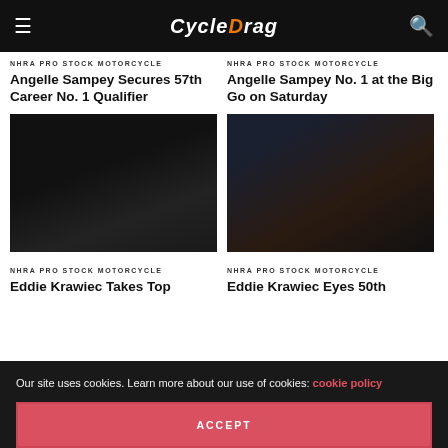CycleDrag
NHRA PRO STOCK MOTORCYCLE
Angelle Sampey Secures 57th Career No. 1 Qualifier
NHRA PRO STOCK MOTORCYCLE
Angelle Sampey No. 1 at the Big Go on Saturday
[Figure (photo): Dark motorcycle racing photo, left column]
[Figure (photo): Dark motorcycle racing photo, right column]
NHRA PRO STOCK MOTORCYCLE
Eddie Krawiec Takes Top
NHRA PRO STOCK MOTORCYCLE
Eddie Krawiec Eyes 50th
Our site uses cookies. Learn more about our use of cookies: cookie policy
ACCEPT